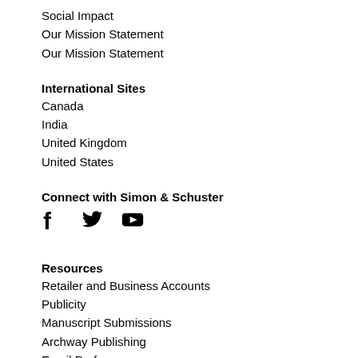Social Impact
Our Mission Statement
Our Mission Statement
International Sites
Canada
India
United Kingdom
United States
Connect with Simon & Schuster
[Figure (illustration): Social media icons: Facebook, Twitter, YouTube]
Resources
Retailer and Business Accounts
Publicity
Manuscript Submissions
Archway Publishing
Email Preferences